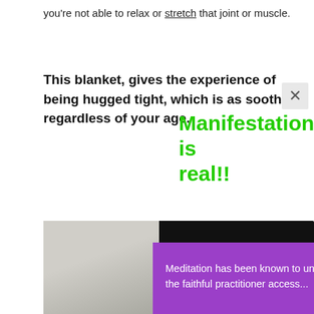you're not able to relax or stretch that joint or muscle.
This blanket, gives the experience of being hugged tight, which is as soothing regardless of your age.
Manifestation is real!!
[Figure (screenshot): A webpage screenshot showing a woman's avatar photo with meditation app popup overlay on purple background with 'Meditation has been known to unlock energy and allow the faithful practitioner access...' text and a green LEARN MORE button, plus teal chat bubble icon]
Meditation has been known to unlock energy and allow the faithful practitioner access...
LEARN MORE